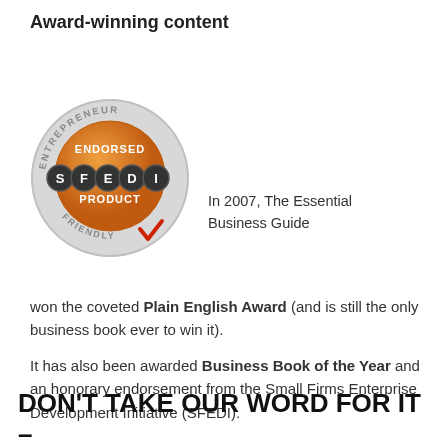Award-winning content
[Figure (logo): SFEDI Entrepreneur Endorsed Product Friendly circular logo with orange center and checkmark]
In 2007, The Essential Business Guide won the coveted Plain English Award (and is still the only business book ever to win it).
It has also been awarded Business Book of the Year and an honorary endorsement from the Small Firms Enterprise Development Initiative (SFEDI).
DON'T TAKE OUR WORD FOR IT – HERE'S WHAT THE BUSINESS EDITORS